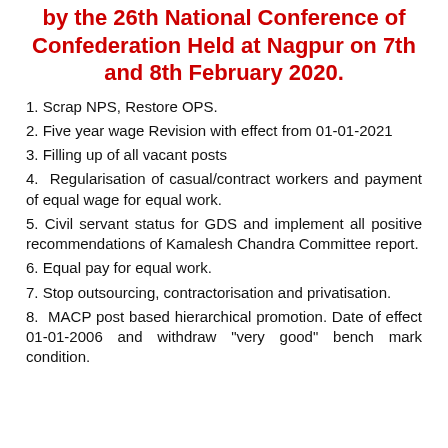by the 26th National Conference of Confederation Held at Nagpur on 7th and 8th February 2020.
1. Scrap NPS, Restore OPS.
2. Five year wage Revision with effect from 01-01-2021
3. Filling up of all vacant posts
4. Regularisation of casual/contract workers and payment of equal wage for equal work.
5. Civil servant status for GDS and implement all positive recommendations of Kamalesh Chandra Committee report.
6. Equal pay for equal work.
7. Stop outsourcing, contractorisation and privatisation.
8. MACP post based hierarchical promotion. Date of effect 01-01-2006 and withdraw "very good" bench mark condition.